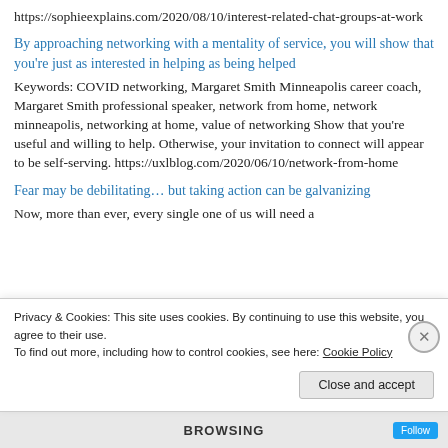https://sophieexplains.com/2020/08/10/interest-related-chat-groups-at-work
By approaching networking with a mentality of service, you will show that you're just as interested in helping as being helped
Keywords: COVID networking, Margaret Smith Minneapolis career coach, Margaret Smith professional speaker, network from home, network minneapolis, networking at home, value of networking Show that you're useful and willing to help. Otherwise, your invitation to connect will appear to be self-serving. https://uxlblog.com/2020/06/10/network-from-home
Fear may be debilitating… but taking action can be galvanizing
Now, more than ever, every single one of us will need a
Privacy & Cookies: This site uses cookies. By continuing to use this website, you agree to their use.
To find out more, including how to control cookies, see here: Cookie Policy
Close and accept
BROWSING